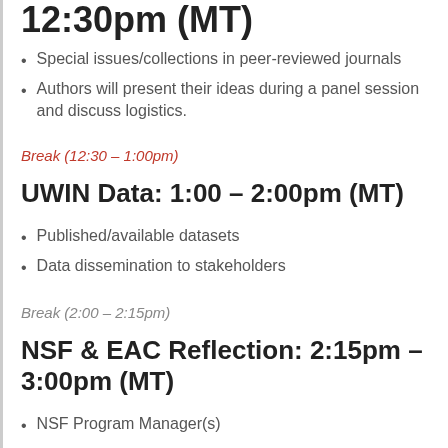12:30pm (MT)
Special issues/collections in peer-reviewed journals
Authors will present their ideas during a panel session and discuss logistics.
Break (12:30 – 1:00pm)
UWIN Data: 1:00 – 2:00pm (MT)
Published/available datasets
Data dissemination to stakeholders
Break (2:00 – 2:15pm)
NSF & EAC Reflection: 2:15pm – 3:00pm (MT)
NSF Program Manager(s)